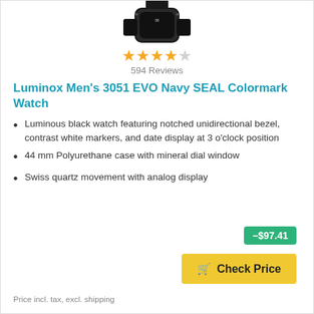[Figure (photo): Partial view of a black Luminox watch from above, showing part of the case and strap]
★★★★☆ 594 Reviews
Luminox Men's 3051 EVO Navy SEAL Colormark Watch
Luminous black watch featuring notched unidirectional bezel, contrast white markers, and date display at 3 o'clock position
44 mm Polyurethane case with mineral dial window
Swiss quartz movement with analog display
–$97.41
Check Price
Price incl. tax, excl. shipping